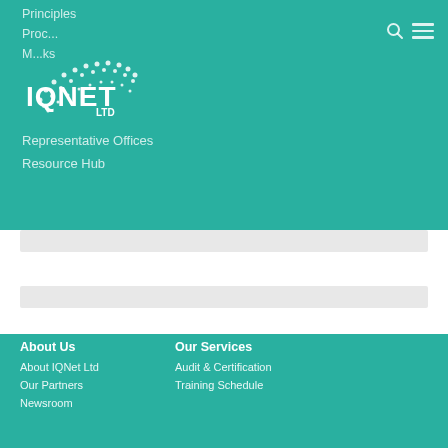IQNet Ltd navigation header with logo and menu icons
Principles
Proc...
M...ks
Representative Offices
Resource Hub
[Figure (logo): IQNet Ltd logo — dotted arc pattern with white dots forming a rainbow shape, text IQNET in bold white, LTD below in smaller white text]
About Us
About IQNet Ltd
Our Partners
Newsroom
Our Services
Audit & Certification
Training Schedule